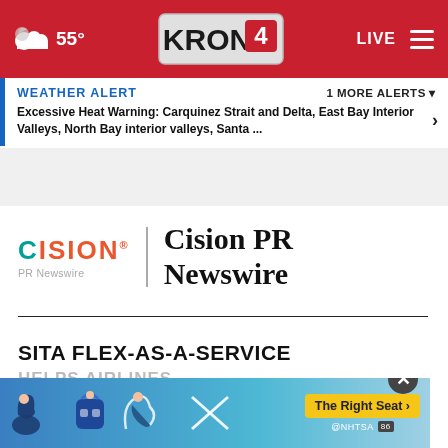55° KRON4 LIVE
WEATHER ALERT   1 MORE ALERTS ▾
Excessive Heat Warning: Carquinez Strait and Delta, East Bay Interior Valleys, North Bay interior valleys, Santa ...
[Figure (logo): Cision PR Newswire logo with orange and teal wordmark and vertical divider]
Cision PR Newswire
SITA FLEX-AS-A-SERVICE HELPS AIRLINES RAPIDLY PASSENGER
[Figure (photo): NHTSA advertisement banner with baby/car safety icons and 'The Right Seat' call to action]